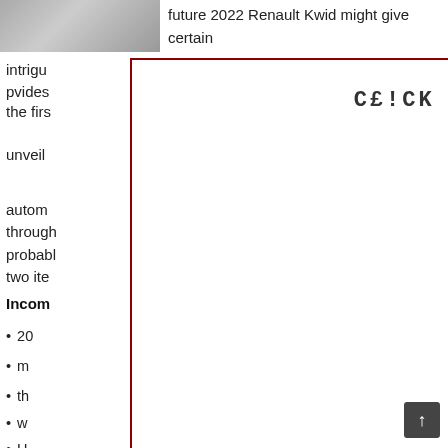[Figure (photo): Partial view of a car (top-left corner)]
future 2022 Renault Kwid might give certain
[Figure (other): Modal overlay with text: CE!CK !M4GE To CE0$E (click image to close)]
intrigu... pvides the firs... unveil... autom... similar through... will probabl... the two ite...
Incom...
20...
m...
th...
w...
H...
ди... дорами 2022 (...)
chevy volt 2022 (4)